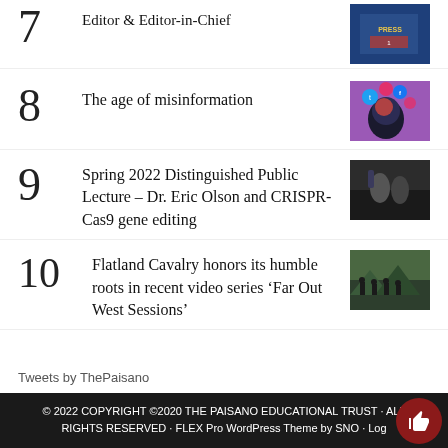7 Editor & Editor-in-Chief
8 The age of misinformation
9 Spring 2022 Distinguished Public Lecture – Dr. Eric Olson and CRISPR-Cas9 gene editing
10 Flatland Cavalry honors its humble roots in recent video series ‘Far Out West Sessions’
Tweets by ThePaisano
© 2022 COPYRIGHT ©2020 THE PAISANO EDUCATIONAL TRUST · ALL RIGHTS RESERVED · FLEX Pro WordPress Theme by SNO · Log in